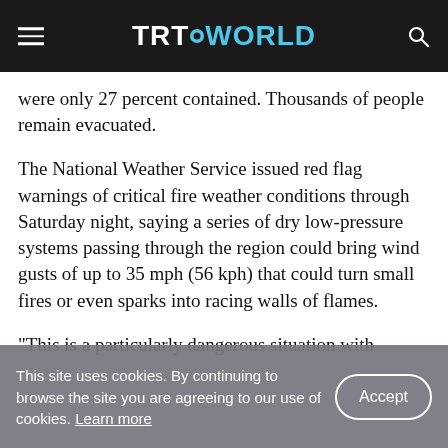TRT WORLD
were only 27 percent contained. Thousands of people remain evacuated.
The National Weather Service issued red flag warnings of critical fire weather conditions through Saturday night, saying a series of dry low-pressure systems passing through the region could bring wind gusts of up to 35 mph (56 kph) that could turn small fires or even sparks into racing walls of flames.
"This is a particularly dangerous situation with
This site uses cookies. By continuing to browse the site you are agreeing to our use of cookies. Learn more